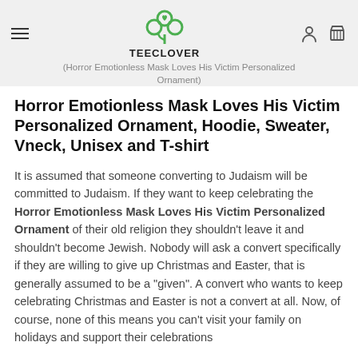(Horror Emotionless Mask Loves His Victim Personalized Ornament)
Horror Emotionless Mask Loves His Victim Personalized Ornament, Hoodie, Sweater, Vneck, Unisex and T-shirt
It is assumed that someone converting to Judaism will be committed to Judaism. If they want to keep celebrating the Horror Emotionless Mask Loves His Victim Personalized Ornament of their old religion they shouldn't leave it and shouldn't become Jewish. Nobody will ask a convert specifically if they are willing to give up Christmas and Easter, that is generally assumed to be a "given". A convert who wants to keep celebrating Christmas and Easter is not a convert at all. Now, of course, none of this means you can't visit your family on holidays and support their celebrations